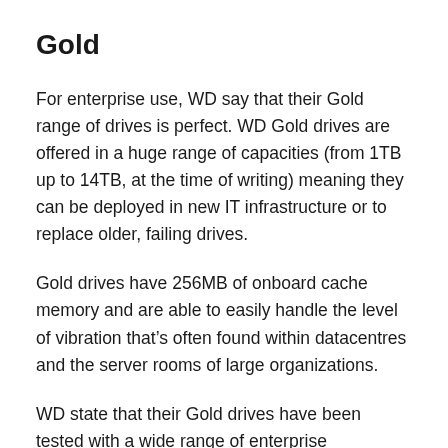Gold
For enterprise use, WD say that their Gold range of drives is perfect. WD Gold drives are offered in a huge range of capacities (from 1TB up to 14TB, at the time of writing) meaning they can be deployed in new IT infrastructure or to replace older, failing drives.
Gold drives have 256MB of onboard cache memory and are able to easily handle the level of vibration that’s often found within datacentres and the server rooms of large organizations.
WD state that their Gold drives have been tested with a wide range of enterprise